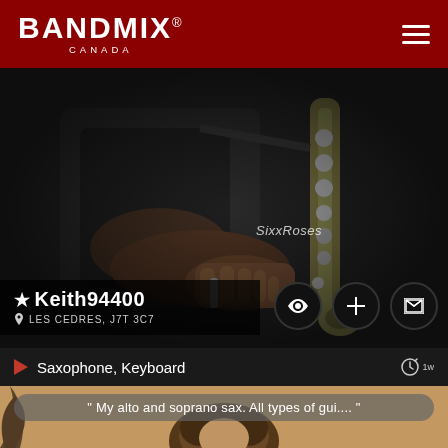BANDMIX® CANADA
[Figure (photo): Dark photo of hands holding a saxophone, partially visible instrument with metal keys and valves, dark background]
SixxRoses
★Keith94400
LES CEDRES, J7T 3C7
Saxophone, Keyboard
[Figure (photo): Sepia-toned photo of a person with curly dark hair looking down, indoor setting with plants visible]
" My alto and soprano sax. All types of gui.... "